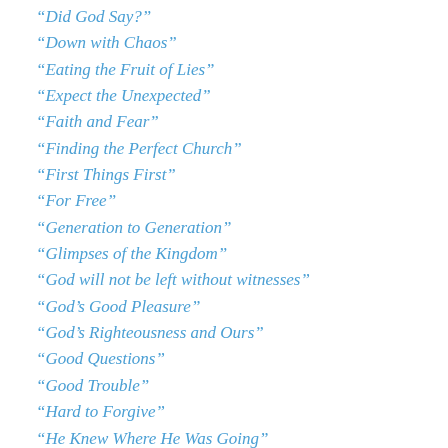“Did God Say?”
“Down with Chaos”
“Eating the Fruit of Lies”
“Expect the Unexpected”
“Faith and Fear”
“Finding the Perfect Church”
“First Things First”
“For Free”
“Generation to Generation”
“Glimpses of the Kingdom”
“God will not be left without witnesses”
“God’s Good Pleasure”
“God’s Righteousness and Ours”
“Good Questions”
“Good Trouble”
“Hard to Forgive”
“He Knew Where He Was Going”
“Her name was Grace”
“Hinge Time”
“Holy Weeping”